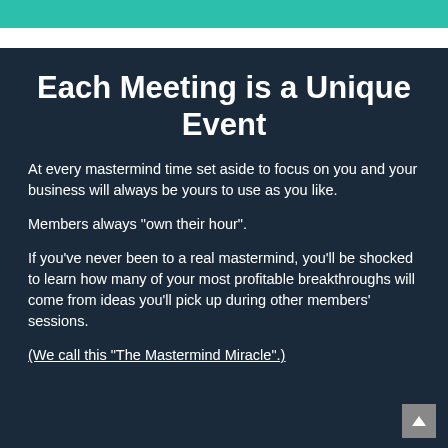Each Meeting is a Unique Event
At every mastermind time set aside to focus on you and your business will always be yours to use as you like.
Members always "own their hour".
If you've never been to a real mastermind, you'll be shocked to learn how many of your most profitable breakthroughs will come from ideas you'll pick up during other members' sessions.
(We call this "The Mastermind Miracle".)